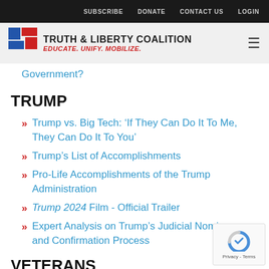SUBSCRIBE  DONATE  CONTACT US  LOGIN
[Figure (logo): Truth & Liberty Coalition logo with icon and text EDUCATE. UNIFY. MOBILIZE.]
Government?
TRUMP
Trump vs. Big Tech: ‘If They Can Do It To Me, They Can Do It To You’
Trump’s List of Accomplishments
Pro-Life Accomplishments of the Trump Administration
Trump 2024 Film - Official Trailer
Expert Analysis on Trump’s Judicial Nominees and Confirmation Process
VETERANS